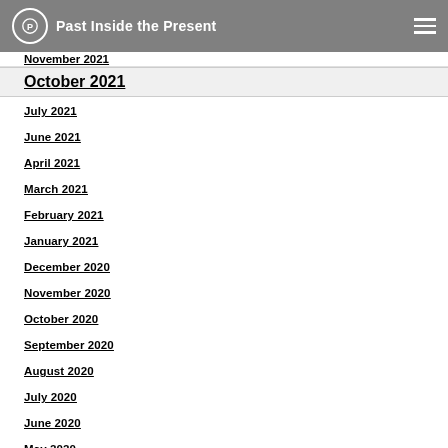Past Inside the Present
November 2021
October 2021
July 2021
June 2021
April 2021
March 2021
February 2021
January 2021
December 2020
November 2020
October 2020
September 2020
August 2020
July 2020
June 2020
May 2020
April 2020
March 2020